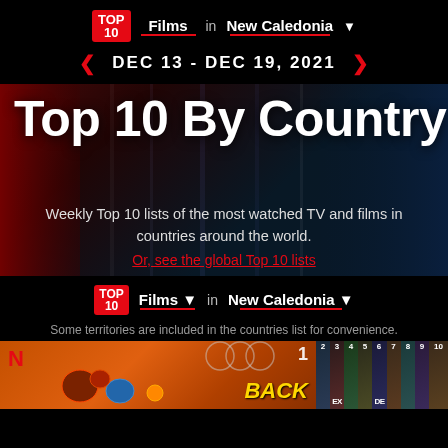TOP 10 Films in New Caledonia
DEC 13 - DEC 19, 2021
Top 10 By Country
Weekly Top 10 lists of the most watched TV and films in countries around the world.
Or, see the global Top 10 lists
Films in New Caledonia
Some territories are included in the countries list for convenience.
[Figure (screenshot): Film thumbnails strip showing numbered positions 1-10 for top films in New Caledonia, with 'Back to the Outback' at position 1 and other film thumbnails at positions 2-10]